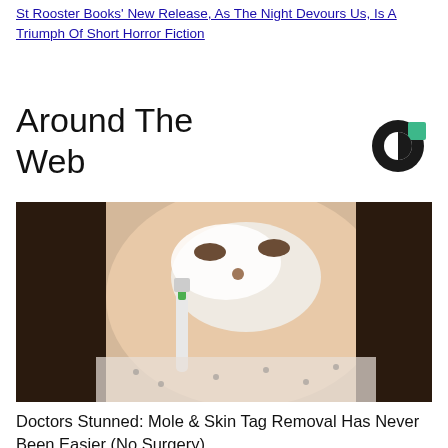St Rooster Books' New Release, As The Night Devours Us, Is A Triumph Of Short Horror Fiction
Around The Web
[Figure (logo): Circular logo with green accent — Outbrain/content recommendation widget icon]
[Figure (photo): Woman applying white paste to face with toothbrush — skin care / mole removal advertisement image]
Doctors Stunned: Mole & Skin Tag Removal Has Never Been Easier (No Surgery)
Healthier Living
[Figure (photo): Partial bottom image — dark scene, appears to be a second advertisement thumbnail]